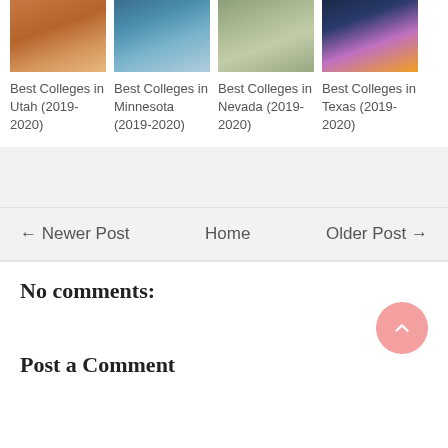[Figure (photo): Photo of Utah landscape - red rock formations]
[Figure (photo): Photo of Minnesota - ocean waves]
[Figure (photo): Photo of Nevada - desert road]
[Figure (photo): Photo of Texas - aerial city night view]
Best Colleges in Utah (2019-2020)
Best Colleges in Minnesota (2019-2020)
Best Colleges in Nevada (2019-2020)
Best Colleges in Texas (2019-2020)
← Newer Post   Home   Older Post →
No comments:
Post a Comment